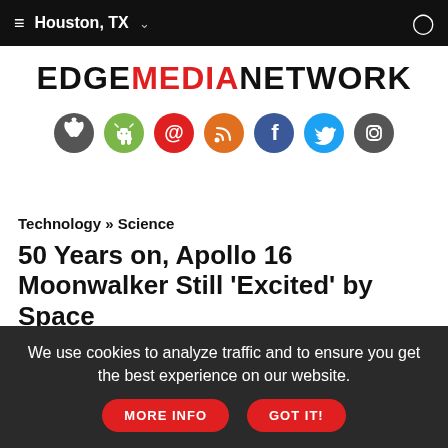≡ Houston, TX  ∨  👤
[Figure (logo): EdgeMediaNetwork logo with EDGE and NETWORK in black, MEDIA in red, uppercase bold]
[Figure (infographic): Row of 7 social media circular icons: Apple (gray), Android (green), Email (red), RSS (orange), Facebook (blue), Twitter (cyan), Instagram (gray)]
Technology » Science
50 Years on, Apollo 16 Moonwalker Still 'Excited' by Space
by Meg Kinnard
Associated Press
Saturday April 30, 2022
We use cookies to analyze traffic and to ensure you get the best experience on our website.  MORE INFO  GOT IT!